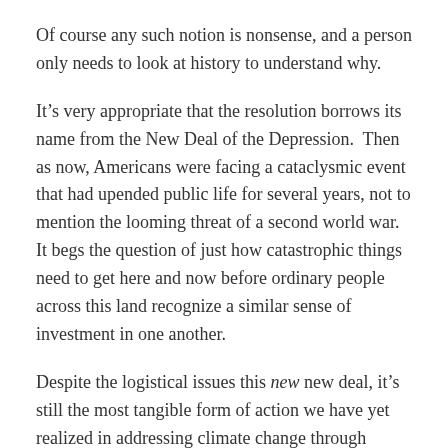Of course any such notion is nonsense, and a person only needs to look at history to understand why.
It’s very appropriate that the resolution borrows its name from the New Deal of the Depression.  Then as now, Americans were facing a cataclysmic event that had upended public life for several years, not to mention the looming threat of a second world war.  It begs the question of just how catastrophic things need to get here and now before ordinary people across this land recognize a similar sense of investment in one another.
Despite the logistical issues this new new deal, it’s still the most tangible form of action we have yet realized in addressing climate change through legislation.
If we cannot succeed in every aspect of it, we might succeed with some if not most of it–and some is most certainly better th…